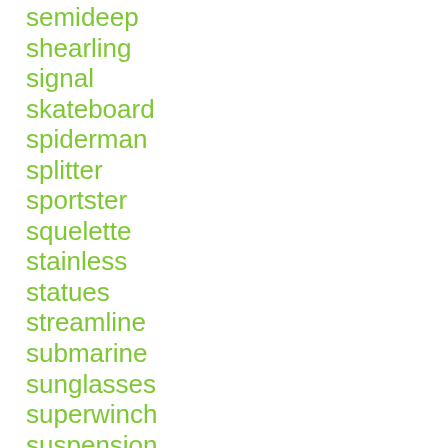semideep
shearling
signal
skateboard
spiderman
splitter
sportster
squelette
stainless
statues
streamline
submarine
sunglasses
superwinch
suspension
thermometer
throttle